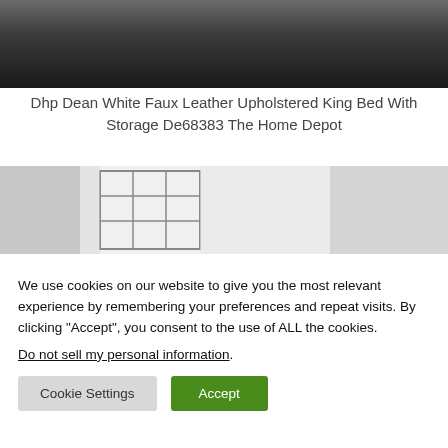[Figure (photo): Black and white photo of a bed headboard or furniture, dark tones, top portion cropped]
Dhp Dean White Faux Leather Upholstered King Bed With Storage De68383 The Home Depot
[Figure (photo): Light grey/white room interior with a window grid visible, very bright washed-out tones]
We use cookies on our website to give you the most relevant experience by remembering your preferences and repeat visits. By clicking “Accept”, you consent to the use of ALL the cookies.
Do not sell my personal information.
Cookie Settings  Accept